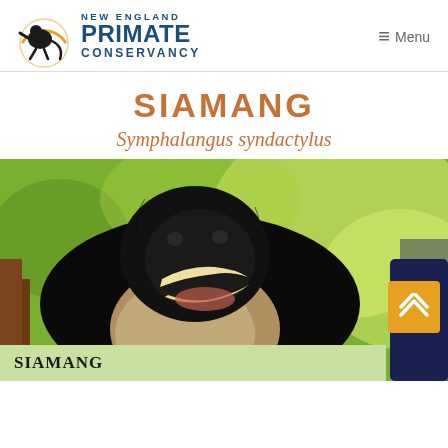[Figure (logo): New England Primate Conservancy logo with primate silhouette in circular graphic and text]
≡ Menu
SIAMANG
Symphalangus syndactylus
[Figure (photo): Close-up photograph of a Siamang with mouth open showing teeth, dark black fur, large throat sac visible, blurred green background]
SIAMANG